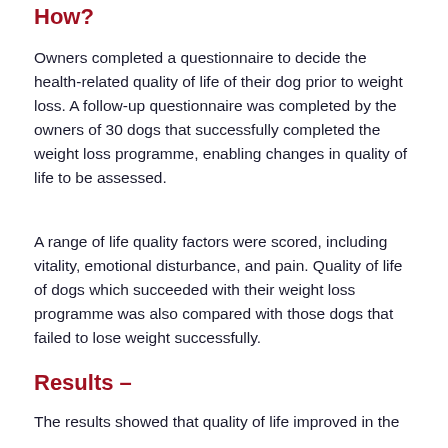How?
Owners completed a questionnaire to decide the health-related quality of life of their dog prior to weight loss. A follow-up questionnaire was completed by the owners of 30 dogs that successfully completed the weight loss programme, enabling changes in quality of life to be assessed.
A range of life quality factors were scored, including vitality, emotional disturbance, and pain. Quality of life of dogs which succeeded with their weight loss programme was also compared with those dogs that failed to lose weight successfully.
Results –
The results showed that quality of life improved in the